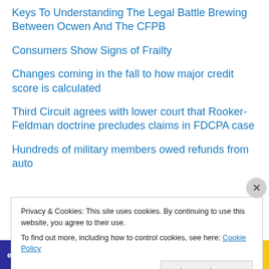Keys To Understanding The Legal Battle Brewing Between Ocwen And The CFPB
Consumers Show Signs of Frailty
Changes coming in the fall to how major credit score is calculated
Third Circuit agrees with lower court that Rooker-Feldman doctrine precludes claims in FDCPA case
Hundreds of military members owed refunds from auto
Privacy & Cookies: This site uses cookies. By continuing to use this website, you agree to their use. To find out more, including how to control cookies, see here: Cookie Policy
Close and accept